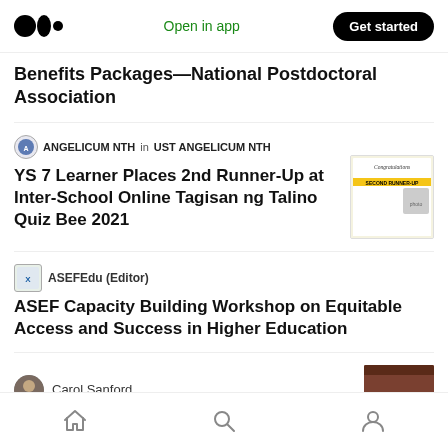Medium — Open in app | Get started
Benefits Packages—National Postdoctoral Association
ANGELICUM NTH in UST ANGELICUM NTH
YS 7 Learner Places 2nd Runner-Up at Inter-School Online Tagisan ng Talino Quiz Bee 2021
[Figure (photo): Congratulations Second Runner-Up certificate/card image]
ASEFEdu (Editor)
ASEF Capacity Building Workshop on Equitable Access and Success in Higher Education
Carol Sanford
[Figure (photo): Partial thumbnail photo, brownish/dark background]
Home | Search | Profile